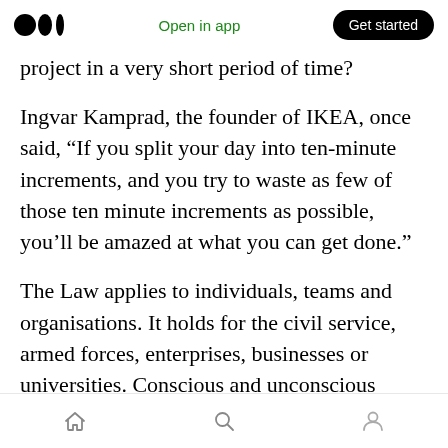Open in app | Get started
project in a very short period of time?
Ingvar Kamprad, the founder of IKEA, once said, “If you split your day into ten-minute increments, and you try to waste as few of those ten minute increments as possible, you’ll be amazed at what you can get done.”
The Law applies to individuals, teams and organisations. It holds for the civil service, armed forces, enterprises, businesses or universities. Conscious and unconscious factors are also at play here. There is the defensive desire to appear
Home | Search | Profile